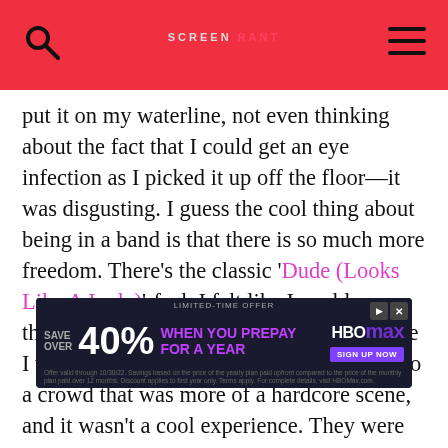SCREEN RANT (logo with search and menu icons)
put it on my waterline, not even thinking about the fact that I could get an eye infection as I picked it up off the floor—it was disgusting. I guess the cool thing about being in a band is that there is so much more freedom. There's the classic 'Dude (Looks Like A Lady)'-feel. I felt like I could wear the eyeliner, and no one would care because I was at a rock show. Then I wore it again to a crowd that was more of a hardcore scene, and it wasn't a cool experience. They were screaming at me to get off the stage and calling me the F word. I was just like, 'Wow, OK.' I was 15 at that point. It was a terrible wake up call to me, all because I was wearing eyeliner—it's not that big of a deal, and yet, people are already policing me for not performing this gender that I'm pretending... ob at perfor...
[Figure (other): HBO Max advertisement banner: SAVE OVER 40% WHEN YOU PREPAY FOR A YEAR with fine print and sign up button]